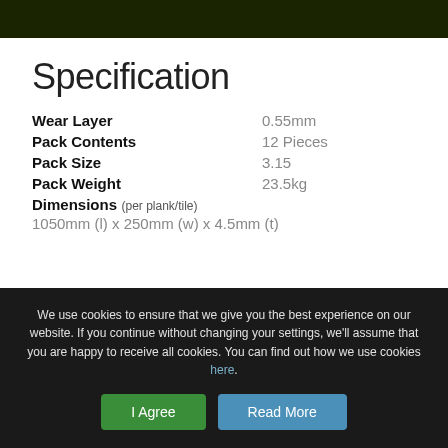[Figure (other): Dark green/black header banner at top of page]
Specification
| Property | Value |
| --- | --- |
| Wear Layer | 0.55mm |
| Pack Contents | 12 Pieces |
| Pack Size | 3.15 |
| Pack Weight | 23.5kg |
| Dimensions (per plank/tile) | 1050mm (l) x 250mm (w) x 4.5mm (t) |
We use cookies to ensure that we give you the best experience on our website. If you continue without changing your settings, we'll assume that you are happy to receive all cookies. You can find out how we use cookies here.
I Agree
Read More